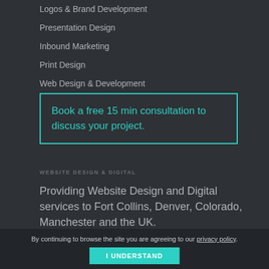Logos & Brand Development
Presentation Design
Inbound Marketing
Print Design
Web Design & Development
Book a free 15 min consultation to discuss your project.
WEBSITE DESIGN & DIGITAL
Providing Website Design and Digital services to Fort Collins, Denver, Colorado, Manchester and the UK.
By continuing to browse the site you are agreeing to our privacy policy.
I UNDERSTAND